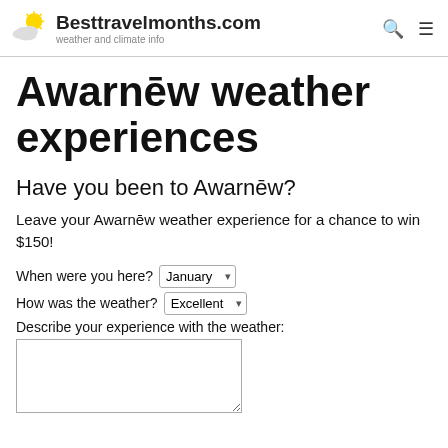Besttravelmonths.com — weather and climate info
Awarnēw weather experiences
Have you been to Awarnēw?
Leave your Awarnēw weather experience for a chance to win $150!
When were you here? [January dropdown] How was the weather? [Excellent dropdown] Describe your experience with the weather: [textarea]